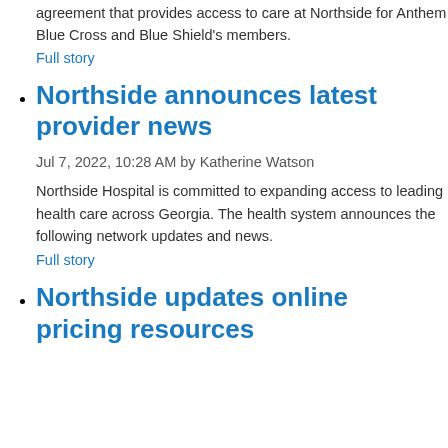agreement that provides access to care at Northside for Anthem Blue Cross and Blue Shield's members.
Full story
Northside announces latest provider news
Jul 7, 2022, 10:28 AM by Katherine Watson Northside Hospital is committed to expanding access to leading health care across Georgia. The health system announces the following network updates and news.
Full story
Northside updates online pricing resources